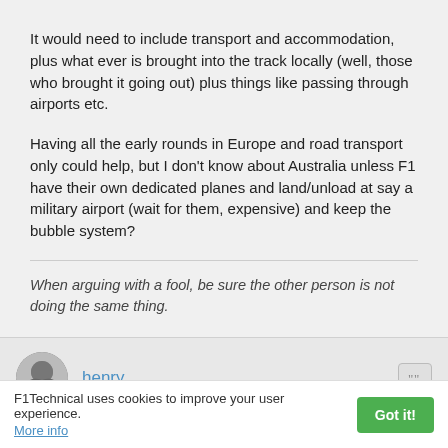It would need to include transport and accommodation, plus what ever is brought into the track locally (well, those who brought it going out) plus things like passing through airports etc.

Having all the early rounds in Europe and road transport only could help, but I don't know about Australia unless F1 have their own dedicated planes and land/unload at say a military airport (wait for them, expensive) and keep the bubble system?
When arguing with a fool, be sure the other person is not doing the same thing.
henry
F1Technical uses cookies to improve your user experience. More info